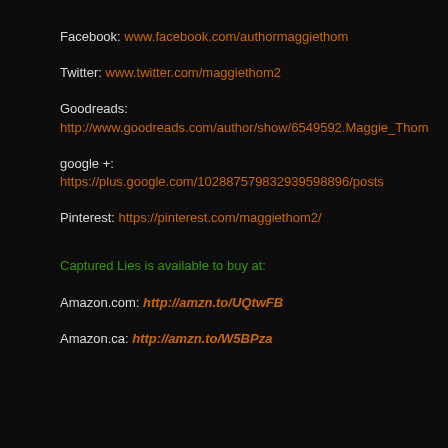Facebook: www.facebook.com/authormaggiethom
Twitter: www.twitter.com/maggiethom2
Goodreads:
http://www.goodreads.com/author/show/6549592.Maggie_Thom
google +:
https://plus.google.com/102887579832939598896/posts
Pinterest: https://pinterest.com/maggiethom2/
Captured Lies is available to buy at:
Amazon.com: http://amzn.to/UQtwFB
Amazon.ca: http://amzn.to/W5BPza